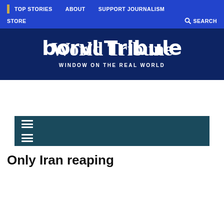TOP STORIES   ABOUT   SUPPORT JOURNALISM   STORE   SEARCH
[Figure (logo): World Tribune logo — blackletter serif masthead text 'World Tribune' with tagline 'WINDOW ON THE REAL WORLD' on dark navy background]
☰ (menu icon rows)
Only Iran reaping